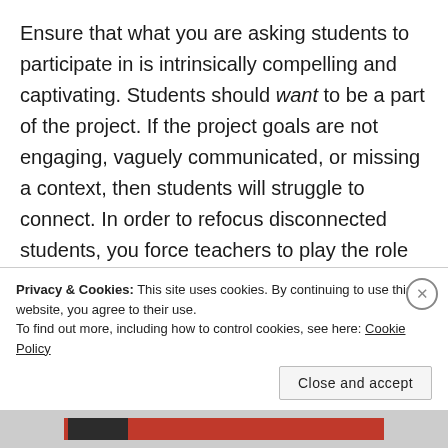Ensure that what you are asking students to participate in is intrinsically compelling and captivating. Students should want to be a part of the project. If the project goals are not engaging, vaguely communicated, or missing a context, then students will struggle to connect. In order to refocus disconnected students, you force teachers to play the role of project cheerleaders, or that of compliance
Privacy & Cookies: This site uses cookies. By continuing to use this website, you agree to their use.
To find out more, including how to control cookies, see here: Cookie Policy
Close and accept